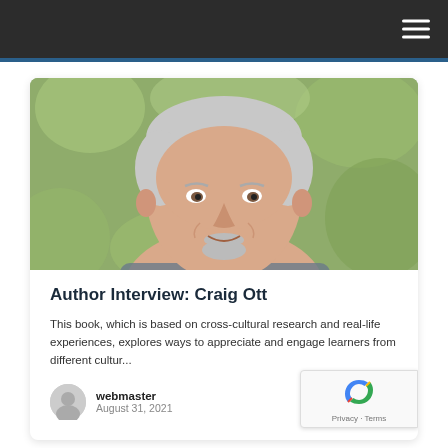[Figure (photo): Portrait photo of Craig Ott, an older man with gray hair and a goatee, smiling, with a blurred green outdoor background.]
Author Interview: Craig Ott
This book, which is based on cross-cultural research and real-life experiences, explores ways to appreciate and engage learners from different cultur...
webmaster
August 31, 2021